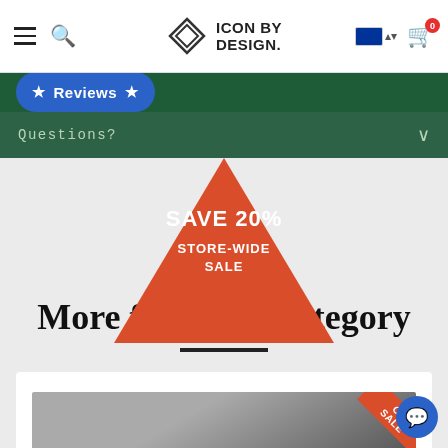Icon By Design — navigation bar with hamburger menu, search, logo, flag selector, and cart (0 items)
★ Reviews ★
Questions?
[Figure (infographic): Red downward-pointing triangle banner with text SAVE 20% STORE-WIDE SALE]
More from this category
[Figure (photo): Product image with ON SALE ribbon in top-right corner, showing a grey/dark gradient product photo]